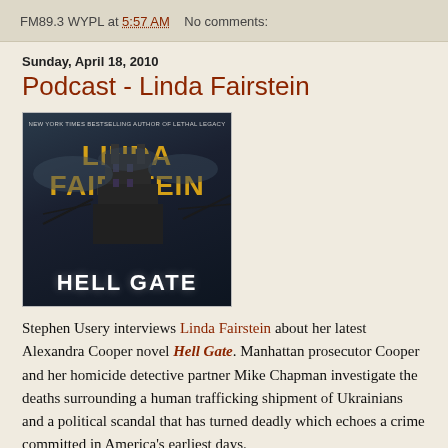FM89.3 WYPL at 5:57 AM   No comments:
Sunday, April 18, 2010
Podcast - Linda Fairstein
[Figure (photo): Book cover of 'Hell Gate' by Linda Fairstein, showing a dark tower silhouette against a cloudy sky with the title at the bottom.]
Stephen Usery interviews Linda Fairstein about her latest Alexandra Cooper novel Hell Gate. Manhattan prosecutor Cooper and her homicide detective partner Mike Chapman investigate the deaths surrounding a human trafficking shipment of Ukrainians and a political scandal that has turned deadly which echoes a crime committed in America's earliest days.